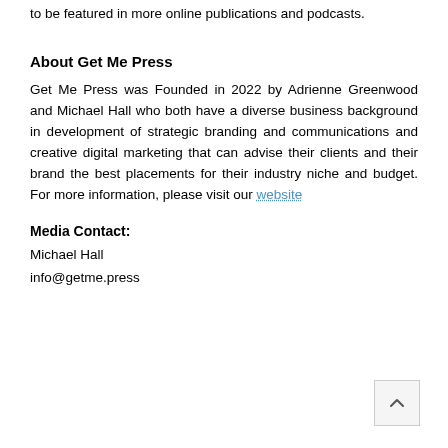to be featured in more online publications and podcasts.
About Get Me Press
Get Me Press was Founded in 2022 by Adrienne Greenwood and Michael Hall who both have a diverse business background in development of strategic branding and communications and creative digital marketing that can advise their clients and their brand the best placements for their industry niche and budget. For more information, please visit our website
Media Contact:
Michael Hall
info@getme.press